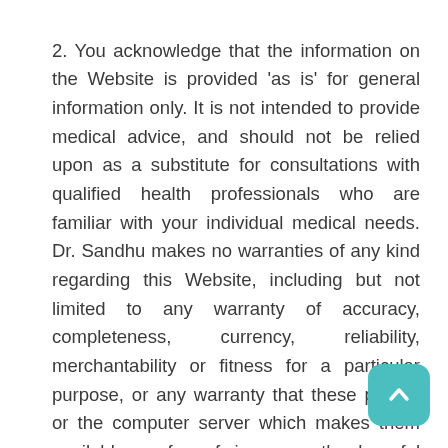2. You acknowledge that the information on the Website is provided 'as is' for general information only. It is not intended to provide medical advice, and should not be relied upon as a substitute for consultations with qualified health professionals who are familiar with your individual medical needs. Dr. Sandhu makes no warranties of any kind regarding this Website, including but not limited to any warranty of accuracy, completeness, currency, reliability, merchantability or fitness for a particular purpose, or any warranty that these pages, or the computer server which makes them available, are free of viruses or other harmful elements, and such warranties are expressly disclaimed.